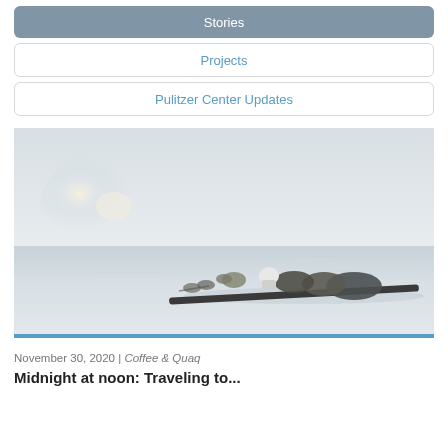Stories
Projects
Pulitzer Center Updates
[Figure (photo): A dog sled team with a person in white gear traversing a vast, flat, snowy Arctic landscape under a hazy pale sky with a faint sun glow on the horizon.]
November 30, 2020 | Coffee & Quaq
Midnight at noon: Traveling to...